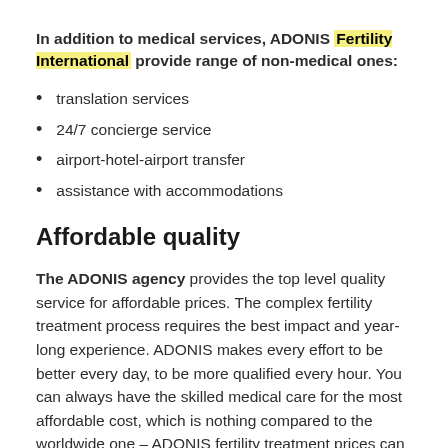In addition to medical services, ADONIS Fertility International provide range of non-medical ones:
translation services
24/7 concierge service
airport-hotel-airport transfer
assistance with accommodations
Affordable quality
The ADONIS agency provides the top level quality service for affordable prices. The complex fertility treatment process requires the best impact and year-long experience. ADONIS makes every effort to be better every day, to be more qualified every hour. You can always have the skilled medical care for the most affordable cost, which is nothing compared to the worldwide one – ADONIS fertility treatment prices can